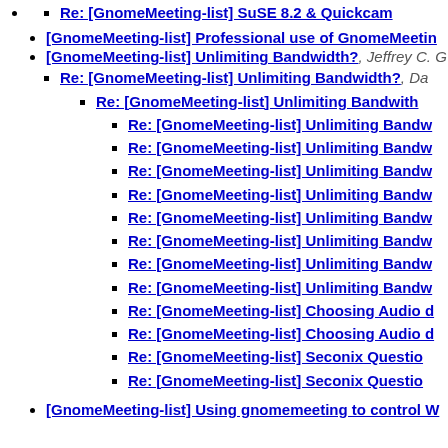Re: [GnomeMeeting-list] SuSE 8.2 & Quickcam...
[GnomeMeeting-list] Professional use of GnomeMeeting...
[GnomeMeeting-list] Unlimiting Bandwidth?, Jeffrey C. G...
Re: [GnomeMeeting-list] Unlimiting Bandwidth?, Da...
Re: [GnomeMeeting-list] Unlimiting Bandwidth...
Re: [GnomeMeeting-list] Unlimiting Bandw...
Re: [GnomeMeeting-list] Unlimiting Bandw...
Re: [GnomeMeeting-list] Unlimiting Bandw...
Re: [GnomeMeeting-list] Unlimiting Bandw...
Re: [GnomeMeeting-list] Unlimiting Bandw...
Re: [GnomeMeeting-list] Unlimiting Bandw...
Re: [GnomeMeeting-list] Unlimiting Bandw...
Re: [GnomeMeeting-list] Unlimiting Bandw...
Re: [GnomeMeeting-list] Choosing Audio d...
Re: [GnomeMeeting-list] Choosing Audio d...
Re: [GnomeMeeting-list] Seconix Question...
Re: [GnomeMeeting-list] Seconix Question...
[GnomeMeeting-list] Using gnomemeeting to control W...